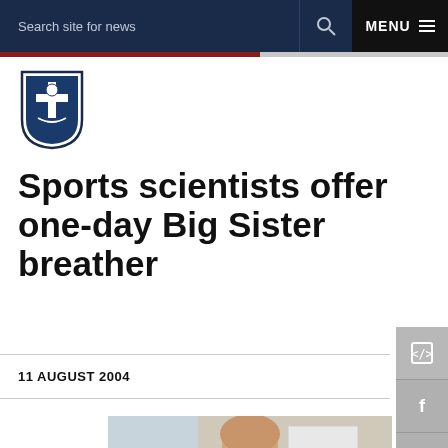Search site for news   Q   MENU
[Figure (logo): University shield/crest logo in blue and white]
Sports scientists offer one-day Big Sister breather
11 AUGUST 2004
[Figure (photo): Woman with blonde hair sitting in a laboratory or office setting with computer and equipment visible]